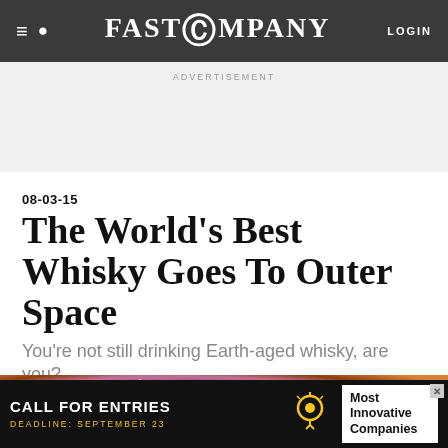FAST COMPANY
ADVERTISEMENT
08-03-15
The World's Best Whisky Goes To Outer Space
You're not still drinking Earth-aged whisky, are you?
[Figure (photo): Whisky barrel or glass against deep space nebula background]
[Figure (infographic): Bottom advertisement banner: CALL FOR ENTRIES / DEADLINE: SEPTEMBER 23 / Most Innovative Companies]